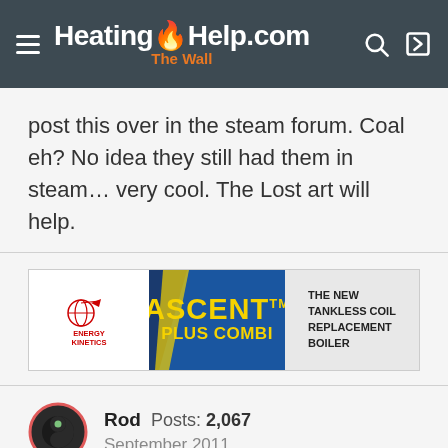HeatingHelp.com The Wall
post this over in the steam forum. Coal eh? No idea they still had them in steam… very cool. The Lost art will help.
[Figure (illustration): Energy Kinetics ASCENT TM PLUS COMBI advertisement banner - THE NEW TANKLESS COIL REPLACEMENT BOILER]
Rod  Posts: 2,067  September 2011
Coal Boiler
Hi- It's not the height of the header that matters the